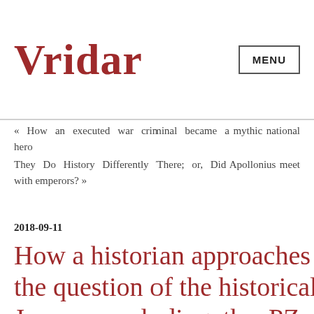Vridar
« How an executed war criminal became a mythic national hero
They Do History Differently There; or, Did Apollonius meet with emperors? »
2018-09-11
How a historian approaches the question of the historical Jesus: concluding the PZ